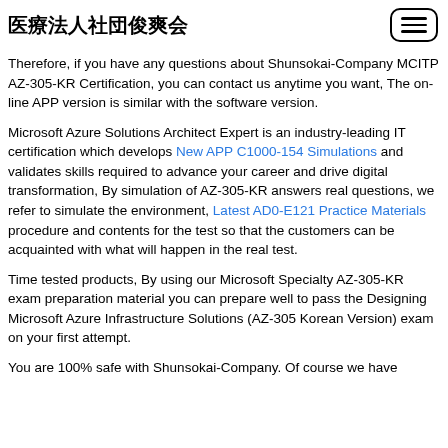医療法人社団俊爽会
Therefore, if you have any questions about Shunsokai-Company MCITP AZ-305-KR Certification, you can contact us anytime you want, The on-line APP version is similar with the software version.
Microsoft Azure Solutions Architect Expert is an industry-leading IT certification which develops New APP C1000-154 Simulations and validates skills required to advance your career and drive digital transformation, By simulation of AZ-305-KR answers real questions, we refer to simulate the environment, Latest AD0-E121 Practice Materials procedure and contents for the test so that the customers can be acquainted with what will happen in the real test.
Time tested products, By using our Microsoft Specialty AZ-305-KR exam preparation material you can prepare well to pass the Designing Microsoft Azure Infrastructure Solutions (AZ-305 Korean Version) exam on your first attempt.
You are 100% safe with Shunsokai-Company. Of course we have...